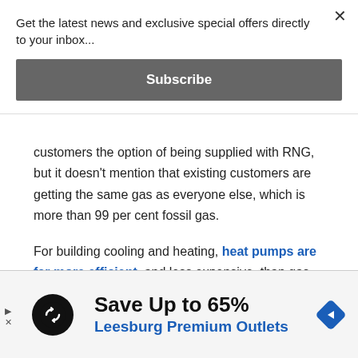Get the latest news and exclusive special offers directly to your inbox...
Subscribe
customers the option of being supplied with RNG, but it doesn't mention that existing customers are getting the same gas as everyone else, which is more than 99 per cent fossil gas.
For building cooling and heating, heat pumps are far more efficient, and less expensive, than gas. Gas usage in homes and buildings also causes indoor air
[Figure (infographic): Advertisement banner: black circle logo with arrows icon, 'Save Up to 65%' headline, 'Leesburg Premium Outlets' subtext in blue, blue diamond navigation icon on right]
Save Up to 65%
Leesburg Premium Outlets